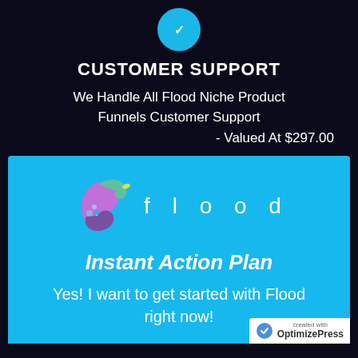[Figure (logo): Circular teal/blue icon button at top center]
CUSTOMER SUPPORT
We Handle All Flood Niche Product Funnels Customer Support
- Valued At $297.00
[Figure (logo): Flood brand logo with stylized water splash graphic and 'flood' text in wide letter-spacing on cyan background]
Instant Action Plan
Yes! I want to get started with Flood right now!
[Figure (logo): OptimizePress badge in bottom right corner]